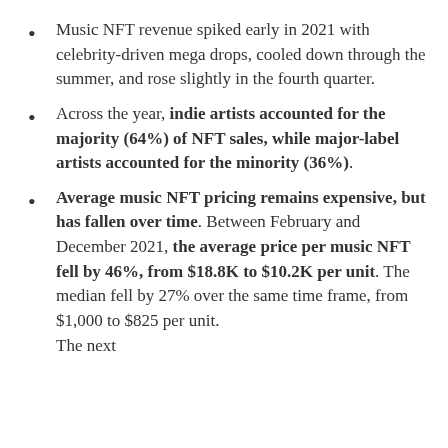Music NFT revenue spiked early in 2021 with celebrity-driven mega drops, cooled down through the summer, and rose slightly in the fourth quarter.
Across the year, indie artists accounted for the majority (64%) of NFT sales, while major-label artists accounted for the minority (36%).
Average music NFT pricing remains expensive, but has fallen over time. Between February and December 2021, the average price per music NFT fell by 46%, from $18.8K to $10.2K per unit. The median fell by 27% over the same time frame, from $1,000 to $825 per unit. The next paragraph has been cut off.